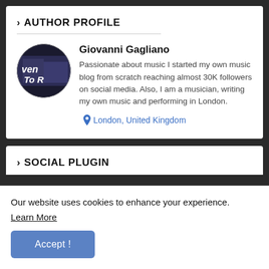> AUTHOR PROFILE
[Figure (photo): Circular avatar photo with dark background and stylized text overlay reading 'ven To R']
Giovanni Gagliano
Passionate about music I started my own music blog from scratch reaching almost 30K followers on social media. Also, I am a musician, writing my own music and performing in London.
London, United Kingdom
> SOCIAL PLUGIN
Our website uses cookies to enhance your experience.
Learn More
Accept !